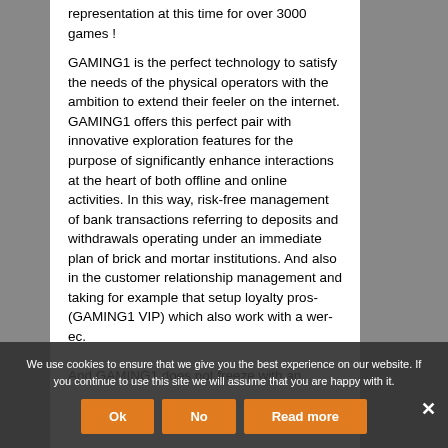representation at this time for over 3000 games !
GAMING1 is the perfect technology to satisfy the needs of the physical operators with the ambition to extend their feeler on the internet. GAMING1 offers this perfect pair with innovative exploration features for the purpose of significantly enhance interactions at the heart of both offline and online activities. In this way, risk-free management of bank transactions referring to deposits and withdrawals operating under an immediate plan of brick and mortar institutions. And also in the customer relationship management and taking for example that setup loyalty pros... (GAMING1 VIP) which also work with a w...er...eed. And GAMING1 does not freeze with an
We use cookies to ensure that we give you the best experience on our website. If you continue to use this site we will assume that you are happy with it.